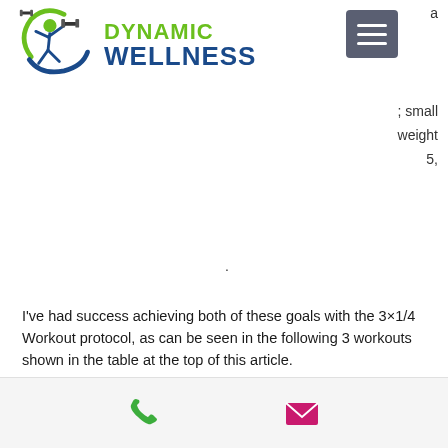[Figure (logo): Dynamic Wellness logo with green figure holding dumbbell and blue swoosh, with green and blue brand name text]
a
; small
weight
5,
.
I've had success achieving both of these goals with the 3×1/4 Workout protocol, as can be seen in the following 3 workouts shown in the table at the top of this article.

The three workouts I've used with this 3×1/4 Workout Program are shown in the following Table:
[Figure (infographic): Contact bar with green phone icon and pink/magenta email envelope icon]